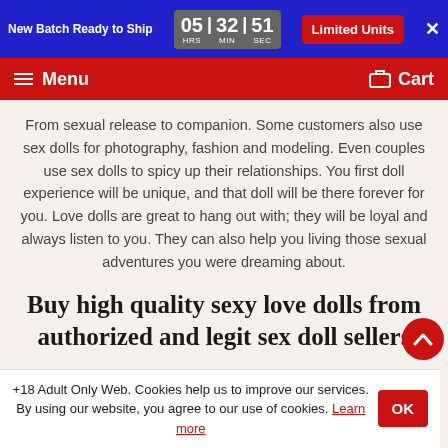New Batch Ready to Ship  05 HRS | 32 MIN | 51 SEC  Limited Units  ×
≡ Menu   🛒 Cart
From sexual release to companion. Some customers also use sex dolls for photography, fashion and modeling. Even couples use sex dolls to spicy up their relationships. You first doll experience will be unique, and that doll will be there forever for you. Love dolls are great to hang out with; they will be loyal and always listen to you. They can also help you living those sexual adventures you were dreaming about.
Buy high quality sexy love dolls from authorized and legit sex doll sellers
+18 Adult Only Web. Cookies help us to improve our services. By using our website, you agree to our use of cookies. Learn more